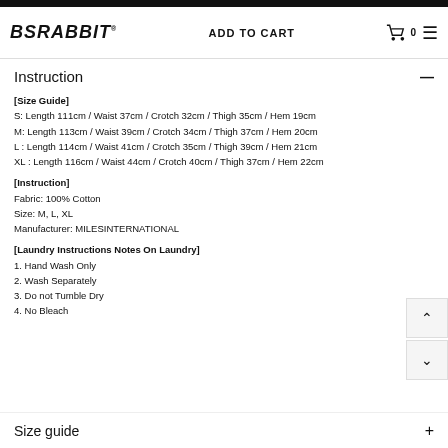BSRABBIT ADD TO CART
Instruction
[Size Guide]
S: Length 111cm / Waist 37cm / Crotch 32cm / Thigh 35cm / Hem 19cm
M: Length 113cm / Waist 39cm / Crotch 34cm / Thigh 37cm / Hem 20cm
L : Length 114cm / Waist 41cm / Crotch 35cm / Thigh 39cm / Hem 21cm
XL : Length 116cm / Waist 44cm / Crotch 40cm / Thigh 37cm / Hem 22cm
[Instruction]
Fabric: 100% Cotton
Size: M, L, XL
Manufacturer: MILESINTERNATIONAL
[Laundry Instructions Notes On Laundry]
1. Hand Wash Only
2. Wash Separately
3. Do not Tumble Dry
4. No Bleach
Size guide